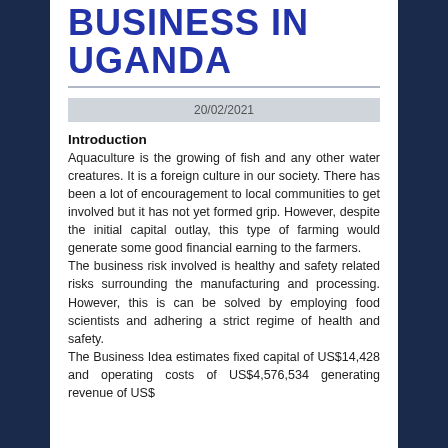BUSINESS IN UGANDA
20/02/2021
Introduction
Aquaculture is the growing of fish and any other water creatures. It is a foreign culture in our society. There has been a lot of encouragement to local communities to get involved but it has not yet formed grip. However, despite the initial capital outlay, this type of farming would generate some good financial earning to the farmers.
The business risk involved is healthy and safety related risks surrounding the manufacturing and processing. However, this is can be solved by employing food scientists and adhering a strict regime of health and safety.
The Business Idea estimates fixed capital of US$14,428 and operating costs of US$4,576,534 generating revenue of US$